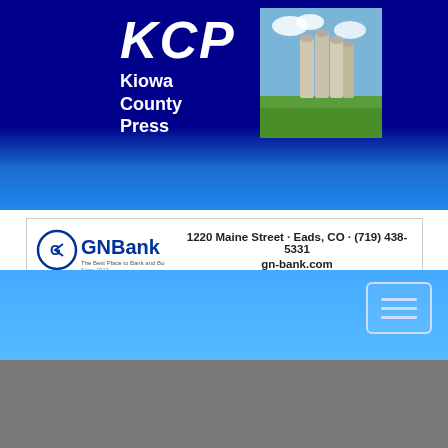KCP Kiowa County Press
[Figure (photo): Grain silos in a field under a blue sky, green grass in the foreground]
[Figure (logo): GNBank logo with circular G icon]
1220 Maine Street · Eads, CO · (719) 438-5331
gn-bank.com
[Figure (other): Hamburger menu button icon with three horizontal lines in a rounded rectangle, light blue outline on blue background]